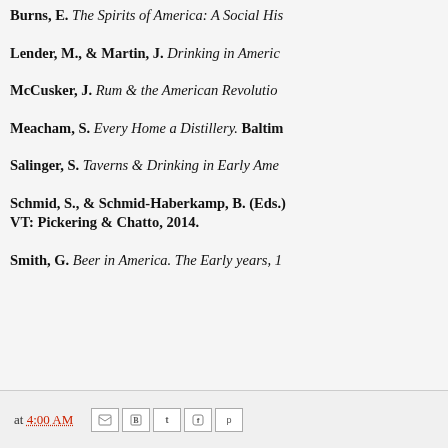Burns, E. The Spirits of America: A Social His...
Lender, M., & Martin, J. Drinking in America...
McCusker, J. Rum & the American Revolutio...
Meacham, S. Every Home a Distillery. Baltim...
Salinger, S. Taverns & Drinking in Early Ame...
Schmid, S., & Schmid-Haberkamp, B. (Eds.)... VT: Pickering & Chatto, 2014.
Smith, G. Beer in America. The Early years, 1...
at 4:00 AM [share icons]